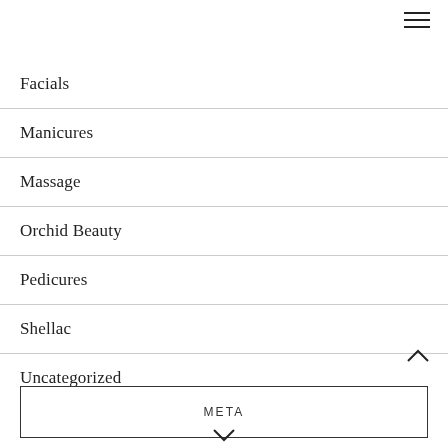[Figure (other): Hamburger menu icon (three horizontal lines) in top right corner]
Facials
Manicures
Massage
Orchid Beauty
Pedicures
Shellac
Uncategorized
META